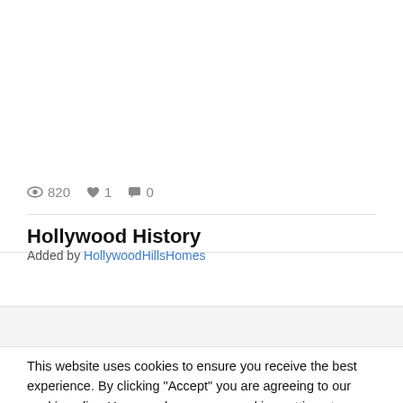820  1  0
Hollywood History
Added by HollywoodHillsHomes
Staff
This website uses cookies to ensure you receive the best experience. By clicking "Accept" you are agreeing to our cookie policy. You can change your cookies setting at any time and read how we use them in our Privacy & Cookies Policy.
Accept
Learn more